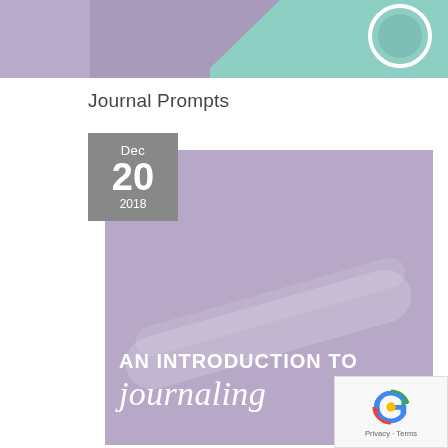[Figure (illustration): Top cropped image showing a teal/mint and purple/mauve colored graphic with a circular element on the right side, partially visible]
Journal Prompts
[Figure (illustration): Blog post card with a dark gray date badge showing 'Dec 20 2018' in the top-left corner, and a mauve/purple background card image with white text reading 'AN INTRODUCTION TO journaling' with a faint pen illustration in the background]
[Figure (other): reCAPTCHA logo overlay with Privacy and Terms links at the bottom right corner]